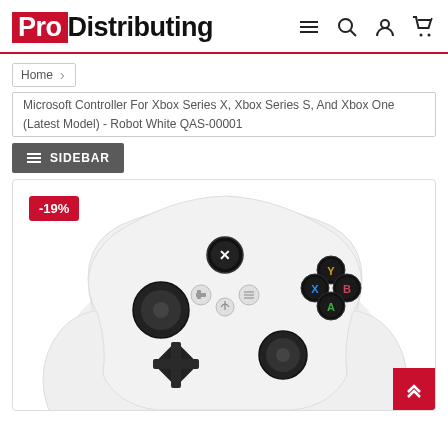Pro Distributing
Home
Microsoft Controller For Xbox Series X, Xbox Series S, And Xbox One (Latest Model) - Robot White QAS-00001
≡  SIDEBAR
[Figure (photo): Microsoft Xbox wireless controller in Robot White color, showing the front face with Xbox button, ABXY colored buttons, thumbsticks, D-pad, and menu buttons. A red badge shows -19% discount.]